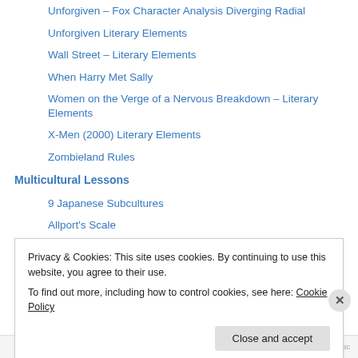Unforgiven – Fox Character Analysis Diverging Radial
Unforgiven Literary Elements
Wall Street – Literary Elements
When Harry Met Sally
Women on the Verge of a Nervous Breakdown – Literary Elements
X-Men (2000) Literary Elements
Zombieland Rules
Multicultural Lessons
9 Japanese Subcultures
Allport's Scale
American Cultural Values
American versus British Universities
American versus Chinese Culture
Privacy & Cookies: This site uses cookies. By continuing to use this website, you agree to their use.
To find out more, including how to control cookies, see here: Cookie Policy